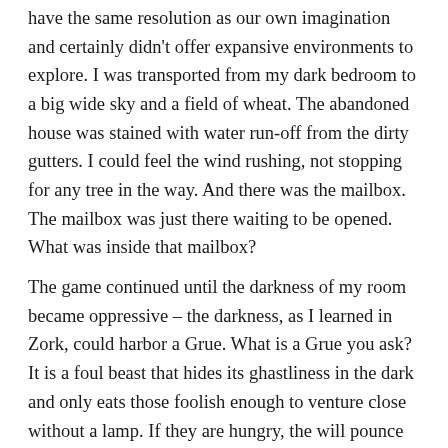have the same resolution as our own imagination and certainly didn't offer expansive environments to explore. I was transported from my dark bedroom to a big wide sky and a field of wheat. The abandoned house was stained with water run-off from the dirty gutters. I could feel the wind rushing, not stopping for any tree in the way. And there was the mailbox. The mailbox was just there waiting to be opened. What was inside that mailbox?
The game continued until the darkness of my room became oppressive – the darkness, as I learned in Zork, could harbor a Grue. What is a Grue you ask? It is a foul beast that hides its ghastliness in the dark and only eats those foolish enough to venture close without a lamp. If they are hungry, the will pounce quickly, and there is nothing to save you but being a